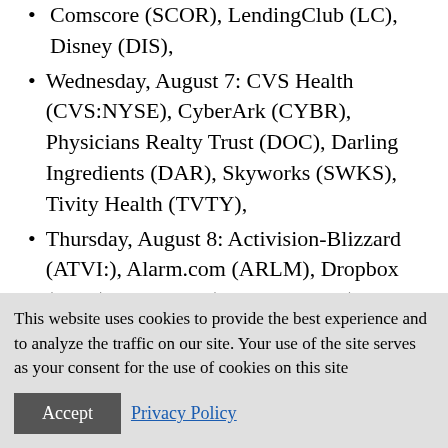Wednesday, August 7: CVS Health (CVS:NYSE), CyberArk (CYBR), Physicians Realty Trust (DOC), Darling Ingredients (DAR), Skyworks (SWKS), Tivity Health (TVTY),
Thursday, August 8: Activision-Blizzard (ATVI:), Alarm.com (ARLM), Dropbox (DBX), Synaptics (SYNA:Nasdaq), Uber (UBER)
Friday, August 9: US Concrete (USCR)
Economic data to watch
This website uses cookies to provide the best experience and to analyze the traffic on our site. Your use of the site serves as your consent for the use of cookies on this site